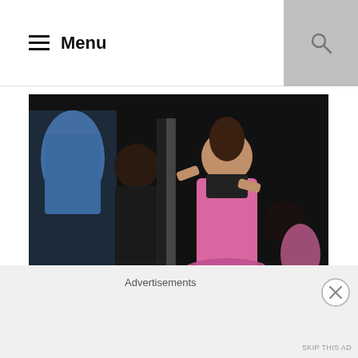≡ Menu
[Figure (photo): Theatre stage photo: a woman in a pink dress stands center stage while two other performers assist her with clothing/fabric, against a dark background]
Women on the Verge of a Nervous Breakdown opened on Broadway last night ... and ouch. It seems the more known entities a production has, the more willing the press is to
Advertisements